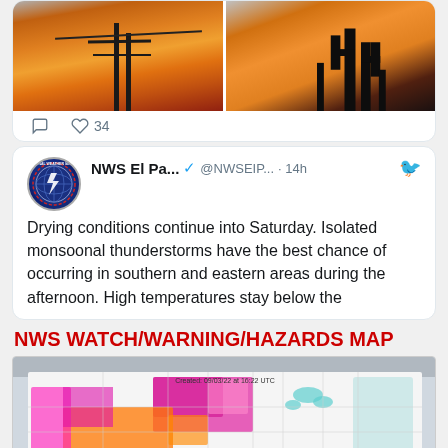[Figure (photo): Two sunset photos side by side showing silhouettes of utility poles and cactus against an orange sky]
♡ 34
[Figure (photo): NWS El Paso Twitter profile logo - National Weather Service circular emblem]
NWS El Pa... ✓ @NWSEIP... · 14h
Drying conditions continue into Saturday. Isolated monsoonal thunderstorms have the best chance of occurring in southern and eastern areas during the afternoon. High temperatures stay below the
NWS WATCH/WARNING/HAZARDS MAP
[Figure (map): NWS Watch/Warning/Hazards Map of the United States showing various weather alerts in pink, magenta, orange, and teal colors across multiple states. Created: 09/03/22 at 16:22 UTC]